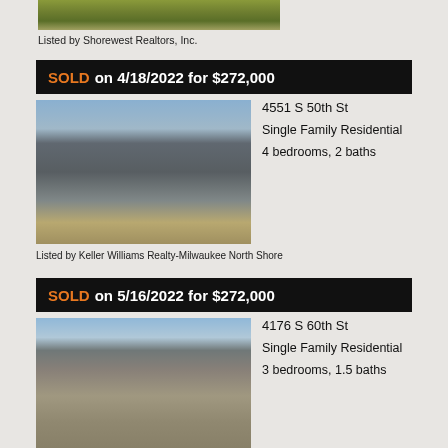[Figure (photo): Top portion of a property photo showing grass/lawn area]
Listed by Shorewest Realtors, Inc.
SOLD on 4/18/2022 for $272,000
[Figure (photo): Single family home at 4551 S 50th St, gray siding with steep roof, evergreen tree in yard]
4551 S 50th St
Single Family Residential
4 bedrooms, 2 baths
Listed by Keller Williams Realty-Milwaukee North Shore
SOLD on 5/16/2022 for $272,000
[Figure (photo): Single family home at 4176 S 60th St, brown/tan brick ranch style]
4176 S 60th St
Single Family Residential
3 bedrooms, 1.5 baths